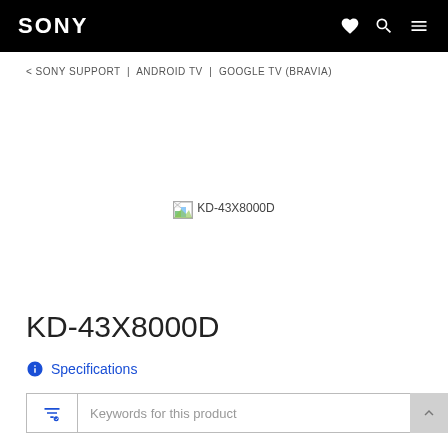SONY
< SONY SUPPORT | ANDROID TV | GOOGLE TV (BRAVIA)
[Figure (photo): Broken/missing product image placeholder for KD-43X8000D]
KD-43X8000D
ℹ Specifications
Keywords for this product